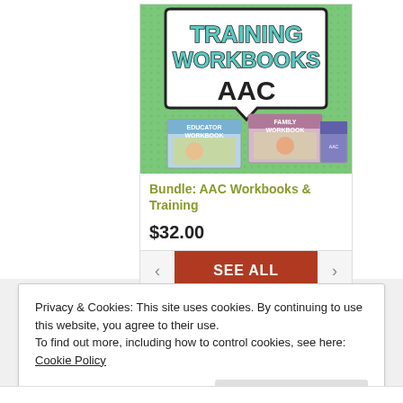[Figure (illustration): Product image showing 'Training Workbooks AAC' with speech bubble graphic and educator/family workbook covers on green background]
Bundle: AAC Workbooks & Training
$32.00
SEE ALL
Privacy & Cookies: This site uses cookies. By continuing to use this website, you agree to their use.
To find out more, including how to control cookies, see here:
Cookie Policy
Close and accept